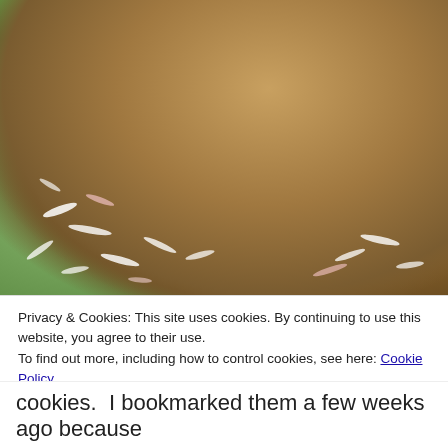[Figure (photo): Photograph of coconut cookies with lime slices on a colorful striped cloth background. Shredded coconut is scattered around. A lime half is visible in the top left corner.]
Privacy & Cookies: This site uses cookies. By continuing to use this website, you agree to their use.
To find out more, including how to control cookies, see here: Cookie Policy
Close and accept
cookies.  I bookmarked them a few weeks ago because